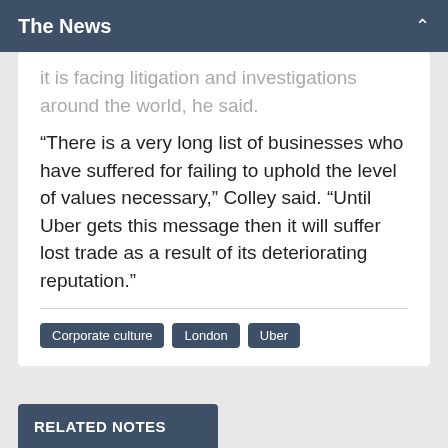The News
...it is facing litigation and investigations around the world, he said.
“There is a very long list of businesses who have suffered for failing to uphold the level of values necessary,” Colley said. “Until Uber gets this message then it will suffer lost trade as a result of its deteriorating reputation.”
Corporate culture
London
Uber
RELATED NOTES